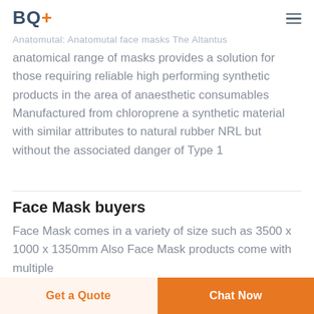BQ+
anatomical range of masks provides a solution for those requiring reliable high performing synthetic products in the area of anaesthetic consumables Manufactured from chloroprene a synthetic material with similar attributes to natural rubber NRL but without the associated danger of Type 1
Face Mask buyers
Face Mask comes in a variety of size such as 3500 x 1000 x 1350mm Also Face Mask products come with multiple
Get a Quote | Chat Now